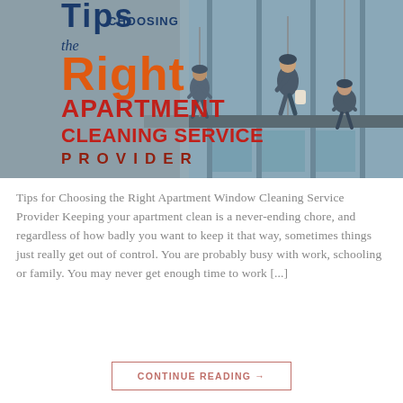[Figure (illustration): Banner image showing window cleaners rappelling on a glass building facade, with bold text overlay reading 'Tips Choosing the Right Apartment Cleaning Service Provider']
Tips for Choosing the Right Apartment Window Cleaning Service Provider Keeping your apartment clean is a never-ending chore, and regardless of how badly you want to keep it that way, sometimes things just really get out of control. You are probably busy with work, schooling or family. You may never get enough time to work [...]
CONTINUE READING →